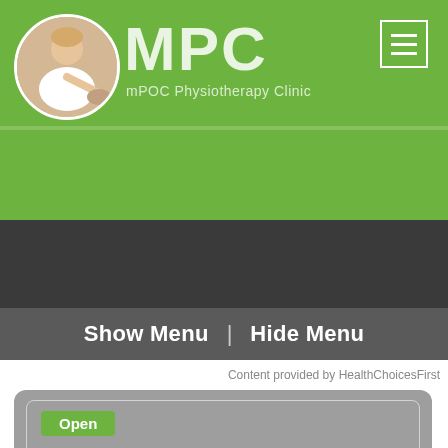[Figure (logo): MPC (mPOC Physiotherapy Clinic) header with green background, circular logo image of physiotherapist, and hamburger menu icon in top right]
Show Menu  |  Hide Menu
Content provided by HealthChoicesFirst
Open
Knowledge is Power.
True/False - Quiz: Do You Understand Physiotherapy - Hips?